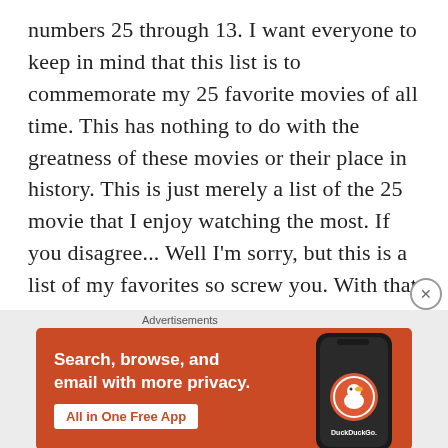numbers 25 through 13. I want everyone to keep in mind that this list is to commemorate my 25 favorite movies of all time. This has nothing to do with the greatness of these movies or their place in history. This is just merely a list of the 25 movie that I enjoy watching the most. If you disagree... Well I'm sorry, but this is a list of my favorites so screw you. With that being said, let's start with some honorable mentions and then on to 25.
Continue reading →
[Figure (other): DuckDuckGo advertisement banner with orange background showing 'Search, browse, and email with more privacy. All in One Free App' with a phone image and DuckDuckGo logo]